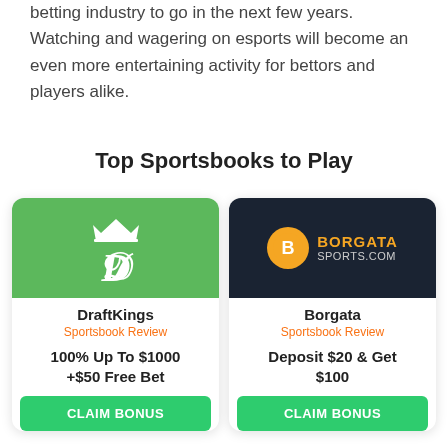betting industry to go in the next few years. Watching and wagering on esports will become an even more entertaining activity for bettors and players alike.
Top Sportsbooks to Play
[Figure (other): DraftKings sportsbook card with green logo banner, bold DraftKings name, orange 'Sportsbook Review' link, offer text '100% Up To $1000 +$50 Free Bet', and green CLAIM BONUS button]
[Figure (other): Borgata sportsbook card with dark navy logo banner showing Borgata Sports.com branding, bold Borgata name, orange 'Sportsbook Review' link, offer text 'Deposit $20 & Get $100', and green CLAIM BONUS button]